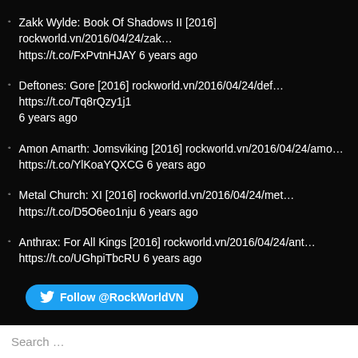Zakk Wylde: Book Of Shadows II [2016] rockworld.vn/2016/04/24/zak… https://t.co/FxPvtnHJAY 6 years ago
Deftones: Gore [2016] rockworld.vn/2016/04/24/def… https://t.co/Tq8rQzy1j1 6 years ago
Amon Amarth: Jomsviking [2016] rockworld.vn/2016/04/24/amo… https://t.co/YlKoaYQXCG 6 years ago
Metal Church: XI [2016] rockworld.vn/2016/04/24/met… https://t.co/D5O6eo1nju 6 years ago
Anthrax: For All Kings [2016] rockworld.vn/2016/04/24/ant… https://t.co/UGhpiTbcRU 6 years ago
Follow @RockWorldVN
Search …